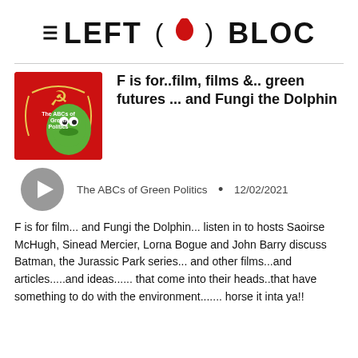≡ LEFT (🇮🇪) BLOC
F is for..film, films &.. green futures ... and Fungi the Dolphin
[Figure (logo): Red square podcast thumbnail with hammer and sickle, Kermit the Frog image, and text 'The ABCs of Green Politics']
The ABCs of Green Politics • 12/02/2021
F is for film... and Fungi the Dolphin... listen in to hosts Saoirse McHugh, Sinead Mercier, Lorna Bogue and John Barry discuss Batman, the Jurassic Park series... and other films...and articles.....and ideas...... that come into their heads..that have something to do with the environment....... horse it inta ya!!